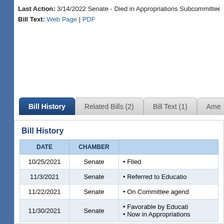Last Action: 3/14/2022 Senate - Died in Appropriations Subcommittee o
Bill Text: Web Page | PDF
| DATE | CHAMBER |  |
| --- | --- | --- |
| 10/25/2021 | Senate | • Filed |
| 11/3/2021 | Senate | • Referred to Educatio |
| 11/22/2021 | Senate | • On Committee agend |
| 11/30/2021 | Senate | • Favorable by Educati
• Now in Appropriations |